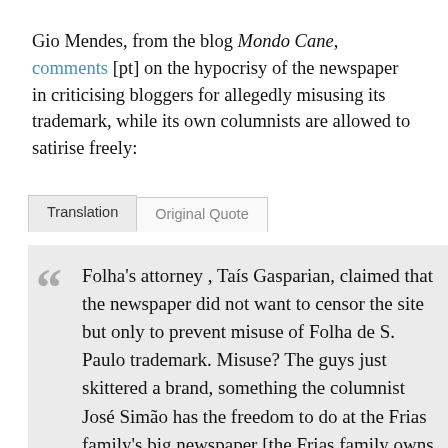Gio Mendes, from the blog Mondo Cane, comments [pt] on the hypocrisy of the newspaper in criticising bloggers for allegedly misusing its trademark, while its own columnists are allowed to satirise freely:
Translation | Original Quote
Folha's attorney , Taís Gasparian, claimed that the newspaper did not want to censor the site but only to prevent misuse of Folha de S. Paulo trademark. Misuse? The guys just skittered a brand, something the columnist José Simão has the freedom to do at the Frias family's big newspaper [the Frias family owns Folha]. Moreover, as reminded my brother Fausto, from the blog Boteco Sujo [Dirty Bar], when Simão was a victim of the